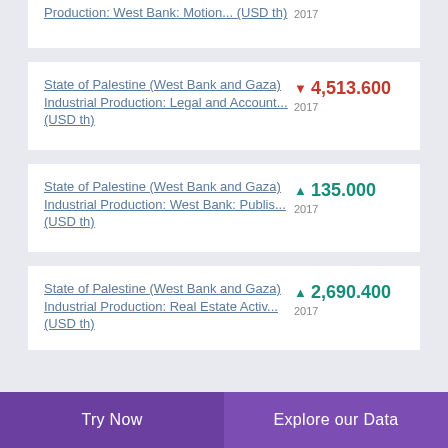Production: West Bank: Motion... (USD th)
State of Palestine (West Bank and Gaza) Industrial Production: Legal and Account... (USD th)
State of Palestine (West Bank and Gaza) Industrial Production: West Bank: Publis... (USD th)
State of Palestine (West Bank and Gaza) Industrial Production: Real Estate Activ... (USD th)
Try Now | Explore our Data